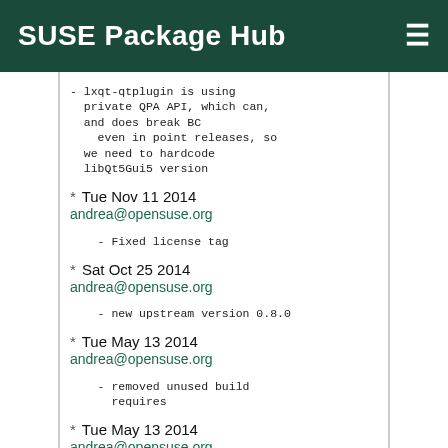SUSE Package Hub
- lxqt-qtplugin is using private QPA API, which can, and does break BC
  even in point releases, so we need to hardcode libQt5Gui5 version
* Tue Nov 11 2014
andrea@opensuse.org
    - Fixed license tag
* Sat Oct 25 2014
andrea@opensuse.org
    - new upstream version 0.8.0
* Tue May 13 2014
andrea@opensuse.org
    - removed unused build requires
* Tue May 13 2014
andrea@opensuse.org
    - removed unused build requires
* Mon May 12 2014
sfalken@opensuse.org
    - removed fedora spec, split into subproject
      Del: lxqt-qtplugin-